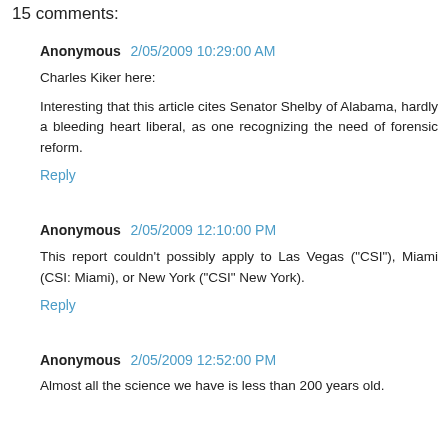15 comments:
Anonymous  2/05/2009 10:29:00 AM
Charles Kiker here:
Interesting that this article cites Senator Shelby of Alabama, hardly a bleeding heart liberal, as one recognizing the need of forensic reform.
Reply
Anonymous  2/05/2009 12:10:00 PM
This report couldn't possibly apply to Las Vegas ("CSI"), Miami (CSI: Miami), or New York ("CSI" New York).
Reply
Anonymous  2/05/2009 12:52:00 PM
Almost all the science we have is less than 200 years old.